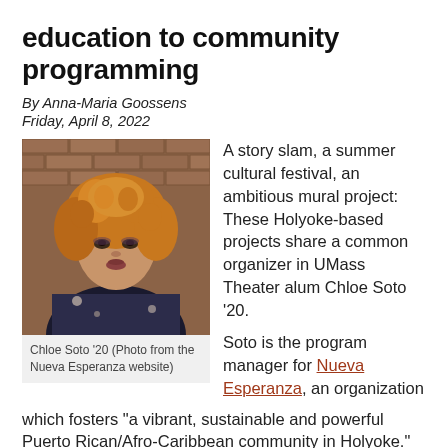education to community programming
By Anna-Maria Goossens
Friday, April 8, 2022
[Figure (photo): Portrait photo of Chloe Soto, a woman with curly reddish-blonde hair wearing a floral patterned top, photographed against a brick wall background.]
Chloe Soto '20 (Photo from the Nueva Esperanza website)
A story slam, a summer cultural festival, an ambitious mural project: These Holyoke-based projects share a common organizer in UMass Theater alum Chloe Soto '20.
Soto is the program manager for Nueva Esperanza, an organization which fosters “a vibrant, sustainable and powerful Puerto Rican/Afro-Caribbean community in Holyoke.”